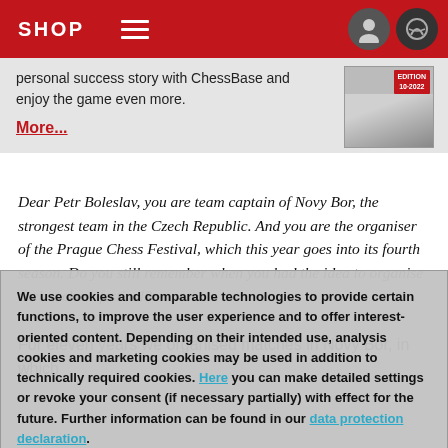SHOP
personal success story with ChessBase and enjoy the game even more.
More...
Dear Petr Boleslav, you are team captain of Novy Bor, the strongest team in the Czech Republic. And you are the organiser of the Prague Chess Festival, which this year goes into its fourth season. Do you still remember when you had the idea to organise such a chess festival?
For eleven years we organised matches in Novy Bor, in which
We use cookies and comparable technologies to provide certain functions, to improve the user experience and to offer interest-oriented content. Depending on their intended use, analysis cookies and marketing cookies may be used in addition to technically required cookies. Here you can make detailed settings or revoke your consent (if necessary partially) with effect for the future. Further information can be found in our data protection declaration.
Agree and continue